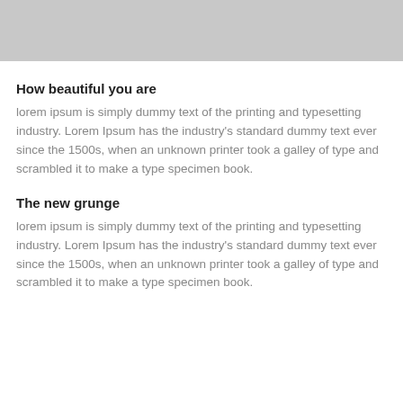[Figure (photo): Gray placeholder image at top of page]
How beautiful you are
lorem ipsum is simply dummy text of the printing and typesetting industry. Lorem Ipsum has the industry's standard dummy text ever since the 1500s, when an unknown printer took a galley of type and scrambled it to make a type specimen book.
The new grunge
lorem ipsum is simply dummy text of the printing and typesetting industry. Lorem Ipsum has the industry's standard dummy text ever since the 1500s, when an unknown printer took a galley of type and scrambled it to make a type specimen book.